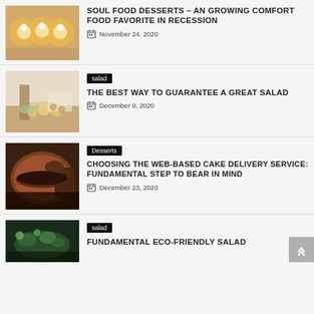[Figure (photo): Dessert food items, peach-like cups with cream]
SOUL FOOD DESSERTS – AN GROWING COMFORT FOOD FAVORITE IN RECESSION
November 24, 2020
[Figure (photo): Person preparing salad at a wooden table with vegetables]
salad
THE BEST WAY TO GUARANTEE A GREAT SALAD
December 9, 2020
[Figure (photo): Chocolate cake with a slice cut out]
Desserts
CHOOSING THE WEB-BASED CAKE DELIVERY SERVICE: FUNDAMENTAL STEP TO BEAR IN MIND
December 23, 2020
[Figure (photo): Dark bowl with green salad and vegetables]
salad
FUNDAMENTAL ECO-FRIENDLY SALAD